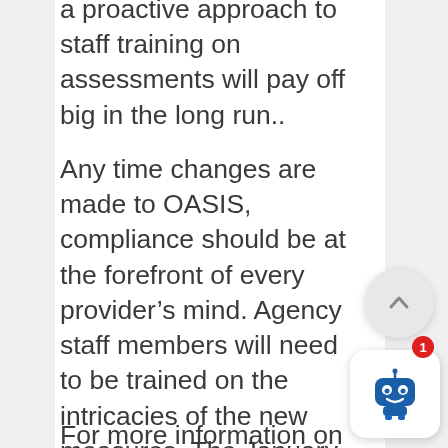a proactive approach to staff training on assessments will pay off big in the long run..
Any time changes are made to OASIS, compliance should be at the forefront of every provider’s mind. Agency staff members will need to be trained on the intricacies of the new measures. The January proposed changes to OASIS are extensive, but historically speaking, even minor adjustments generally demand additional training hours for staff  to ensure full compliance.
For more information on